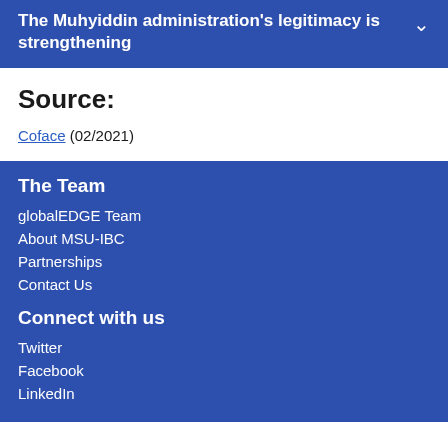The Muhyiddin administration's legitimacy is strengthening
Source:
Coface (02/2021)
The Team
globalEDGE Team
About MSU-IBC
Partnerships
Contact Us
Connect with us
Twitter
Facebook
LinkedIn